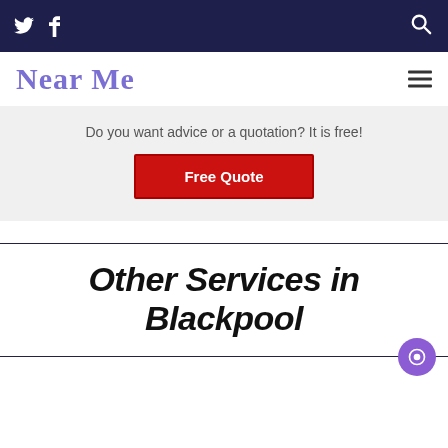Twitter Facebook [search icon] — top navigation bar
Near Me
Do you want advice or a quotation? It is free!
Free Quote
Other Services in Blackpool